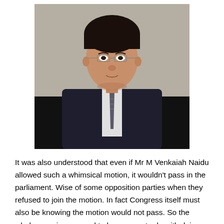[Figure (photo): Portrait photograph of a man in a dark suit and tie wearing glasses, seated against a grey background]
It was also understood that even if Mr M Venkaiah Naidu allowed such a whimsical motion, it wouldn't pass in the parliament. Wise of some opposition parties when they refused to join the motion. In fact Congress itself must also be knowing the motion would not pass. So the whole exercise seemed to have more to do with doing something drastic and that way earn more importance for its new